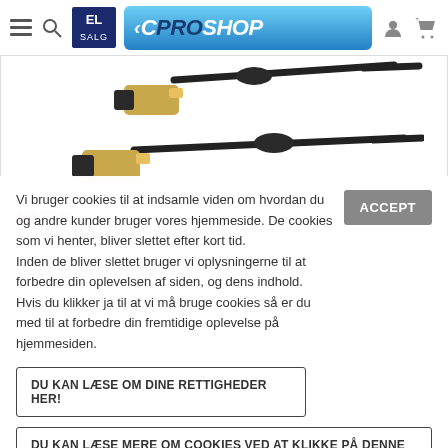EL SALG | PROSHOP
[Figure (photo): Two HDMI cables with gold-plated connectors and black braided cable with ferrite cores, shown against white background]
Vi bruger cookies til at indsamle viden om hvordan du og andre kunder bruger vores hjemmeside. De cookies som vi henter, bliver slettet efter kort tid. Inden de bliver slettet bruger vi oplysningerne til at forbedre din oplevelsen af siden, og dens indhold. Hvis du klikker ja til at vi må bruge cookies så er du med til at forbedre din fremtidige oplevelse på hjemmesiden.
DU KAN LÆSE OM DINE RETTIGHEDER HER!
DU KAN LÆSE MERE OM COOKIES VED AT KLIKKE PÅ DENNE LINJE
LÆG I KURV